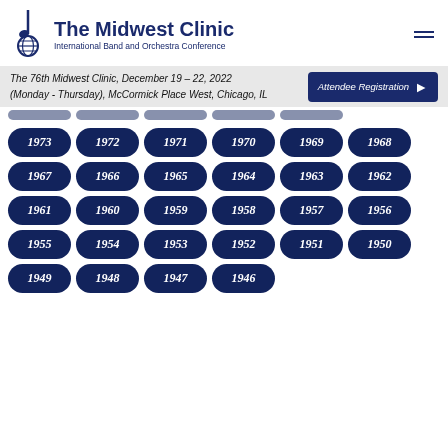[Figure (logo): The Midwest Clinic logo with musical note and globe symbol]
The Midwest Clinic
International Band and Orchestra Conference
The 76th Midwest Clinic, December 19 – 22, 2022 (Monday - Thursday), McCormick Place West, Chicago, IL
Attendee Registration
1973
1972
1971
1970
1969
1968
1967
1966
1965
1964
1963
1962
1961
1960
1959
1958
1957
1956
1955
1954
1953
1952
1951
1950
1949
1948
1947
1946